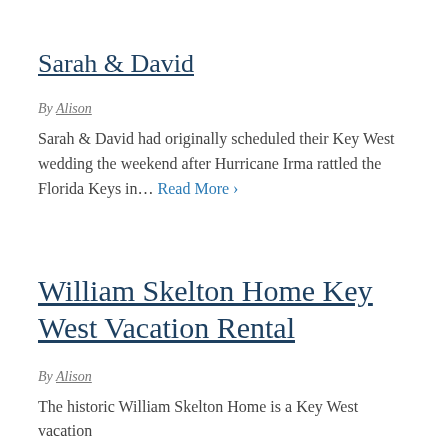Sarah & David
By Alison
Sarah & David had originally scheduled their Key West wedding the weekend after Hurricane Irma rattled the Florida Keys in… Read More ›
William Skelton Home Key West Vacation Rental
By Alison
The historic William Skelton Home is a Key West vacation